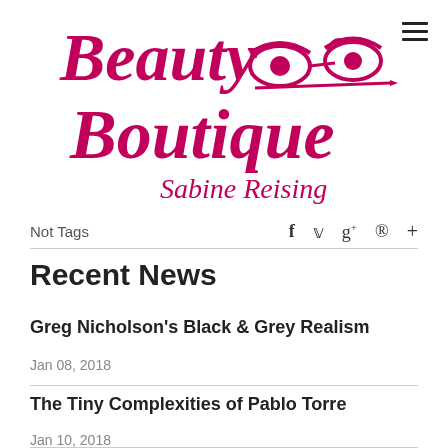[Figure (logo): Beauty Boutique Sabine Reising logo in magenta/pink script font with eye illustrations]
Not Tags
f  ❧  g+  ®  +
Recent News
Greg Nicholson's Black & Grey Realism
Jan 08, 2018
The Tiny Complexities of Pablo Torre
Jan 10, 2018